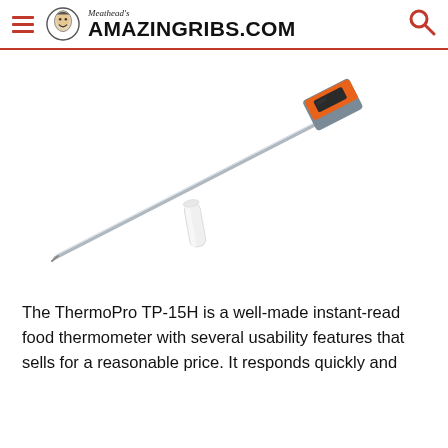Meathead's AmazingRibs.com
[Figure (photo): A ThermoPro TP-15H instant-read food thermometer with a long silver metal probe extending diagonally, an orange and grey handle with a digital display, and a small white probe cover/cap below the probe.]
The ThermoPro TP-15H is a well-made instant-read food thermometer with several usability features that sells for a reasonable price. It responds quickly and